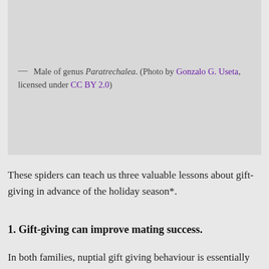[Figure (photo): Photo of male of genus Paratrechalea spider]
— Male of genus Paratrechalea. (Photo by Gonzalo G. Useta, licensed under CC BY 2.0)
These spiders can teach us three valuable lessons about gift-giving in advance of the holiday season*.
1. Gift-giving can improve mating success.
In both families, nuptial gift giving behaviour is essentially the same. Before mating, the male obtains a prey item, (usually) wraps it up with silk, and offers it to the female during his courtship display. If she's in the mood, she'll grasp the package in her chelicerae, and while she's busy consuming the prey inside, the male will copulate. It's possible to mate without providing a gift, but in both Pisaura mirabilis and Paratrechalea ornata, males that give gifts have higher mating success: they have longer copulation durations and fertilize more of the